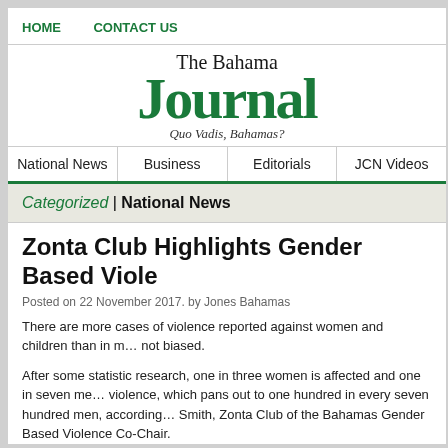HOME   CONTACT US
[Figure (logo): The Bahama Journal newspaper logo with green blackletter 'Journal' text and tagline 'Quo Vadis, Bahamas?']
National News | Business | Editorials | JCN Videos
Categorized | National News
Zonta Club Highlights Gender Based Viol…
Posted on 22 November 2017. by Jones Bahamas
There are more cases of violence reported against women and children than in m… not biased.
After some statistic research, one in three women is affected and one in seven me… violence, which pans out to one hundred in every seven hundred men, according… Smith, Zonta Club of the Bahamas Gender Based Violence Co-Chair.